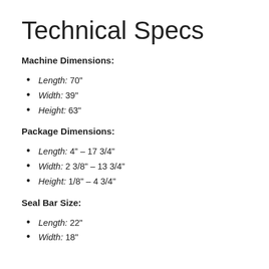Technical Specs
Machine Dimensions:
Length: 70"
Width: 39"
Height: 63"
Package Dimensions:
Length: 4" – 17 3/4"
Width: 2 3/8" – 13 3/4"
Height: 1/8" – 4 3/4"
Seal Bar Size:
Length: 22"
Width: 18"